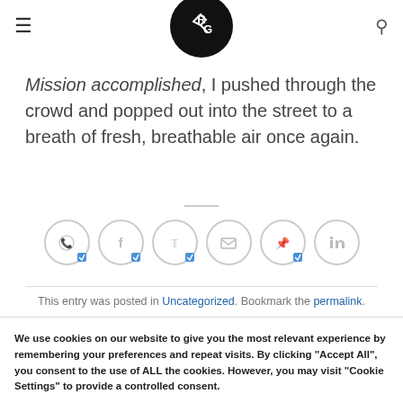RG logo, hamburger menu, search icon
Thanks Lauren. Good to meet you... and well done!
Mission accomplished, I pushed through the crowd and popped out into the street to a breath of fresh, breathable air once again.
[Figure (infographic): Row of 6 social sharing icons in circles: WhatsApp, Facebook, Twitter, Email, Pinterest, LinkedIn]
This entry was posted in Uncategorized. Bookmark the permalink.
We use cookies on our website to give you the most relevant experience by remembering your preferences and repeat visits. By clicking "Accept All", you consent to the use of ALL the cookies. However, you may visit "Cookie Settings" to provide a controlled consent.